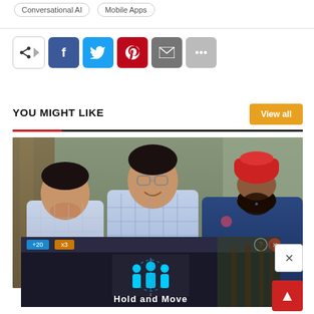Conversational AI
Mobile Apps
YOU MIGHT LIKE
View all
[Figure (photo): Three men standing together outdoors. Left man wears a light blue checkered shirt. Center man wears a blue plaid shirt and glasses. Right man wears a navy polo shirt and a red turban with a beard.]
[Figure (screenshot): Advertisement overlay showing a game-like interface with Hold and Move text, score +20, multiplier x3, and people icons on a dark background with trees.]